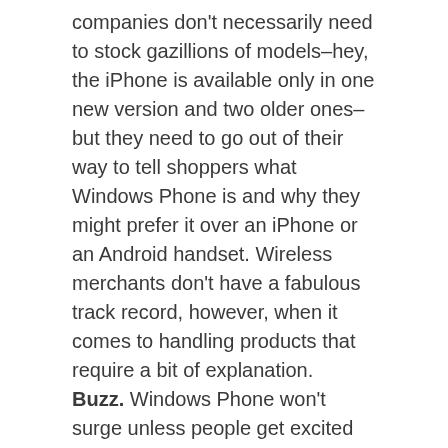companies don't necessarily need to stock gazillions of models–hey, the iPhone is available only in one new version and two older ones–but they need to go out of their way to tell shoppers what Windows Phone is and why they might prefer it over an iPhone or an Android handset. Wireless merchants don't have a fabulous track record, however, when it comes to handling products that require a bit of explanation.
Buzz. Windows Phone won't surge unless people get excited over it. And one survey showed that Windows Phone 7 owners were happy, or at least happier than Android users. But with Windows Phone sales so meager to date, there simply aren't enough consumers out there showing off their handsets to their buddies and raving about them.
We remain cautiously optimistic that Windows Phone will catch on. For one thing, Microsoft can afford to be patient with it, and the world's leading software company really